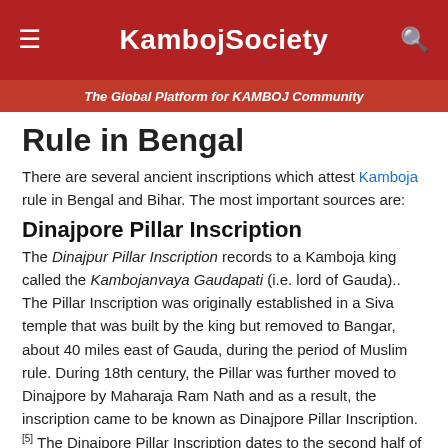KambojSociety
The Global Platform for KAMBOJ Community
Rule in Bengal
There are several ancient inscriptions which attest Kamboja rule in Bengal and Bihar. The most important sources are:
Dinajpore Pillar Inscription
The Dinajpur Pillar Inscription records to a Kamboja king called the Kambojanvaya Gaudapati (i.e. lord of Gauda).. The Pillar Inscription was originally established in a Siva temple that was built by the king but removed to Bangar, about 40 miles east of Gauda, during the period of Muslim rule. During 18th century, the Pillar was further moved to Dinajpore by Maharaja Ram Nath and as a result, the inscription came to be known as Dinajpore Pillar Inscription.[5] The Dinajpore Pillar Inscription dates to the second half of